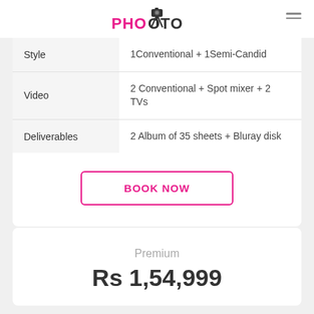PHOMOTO
| Field | Value |
| --- | --- |
| Style | 1Conventional + 1Semi-Candid |
| Video | 2 Conventional + Spot mixer + 2 TVs |
| Deliverables | 2 Album of 35 sheets + Bluray disk |
BOOK NOW
Premium
Rs 1,54,999